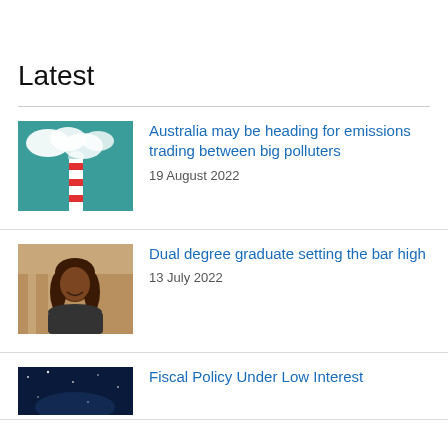Latest
[Figure (photo): Industrial chimney with red and white stripes emitting white smoke against a teal blue sky]
Australia may be heading for emissions trading between big polluters
19 August 2022
[Figure (photo): Portrait of a young dark-skinned woman with long hair, smiling, wearing a dark jacket, in front of a building]
Dual degree graduate setting the bar high
13 July 2022
[Figure (photo): Dark blue image, partially visible, bottom of page]
Fiscal Policy Under Low Interest